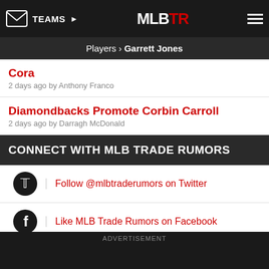TEAMS ▶   MLBTR   ☰
Players › Garrett Jones
Cora
2 days ago by Anthony Franco
Diamondbacks Promote Corbin Carroll
2 days ago by Darragh McDonald
CONNECT WITH MLB TRADE RUMORS
Follow @mlbtraderumors on Twitter
Like MLB Trade Rumors on Facebook
PARTNER SITES
HOOPS RUMORS
PRO FOOTBALL RUMORS
ADVERTISEMENT